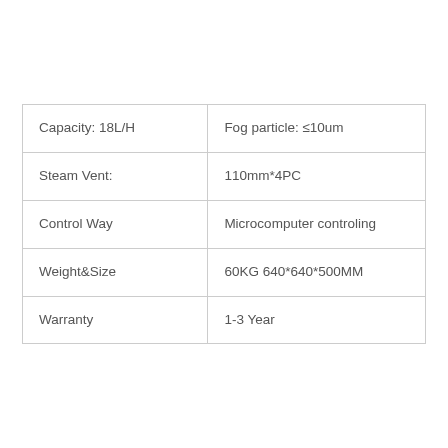| Capacity:  18L/H | Fog particle:  ≤10um |
| Steam Vent: |  110mm*4PC |
| Control Way | Microcomputer controling |
| Weight&Size | 60KG  640*640*500MM |
| Warranty | 1-3 Year |